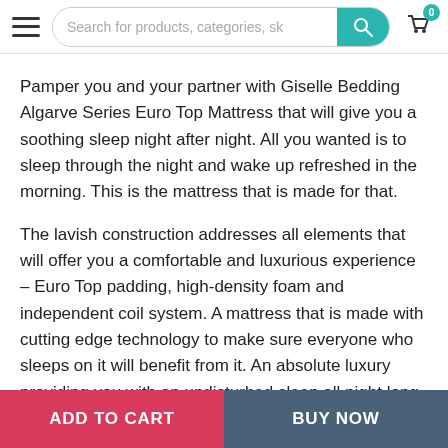Search for products, categories, sk
Pamper you and your partner with Giselle Bedding Algarve Series Euro Top Mattress that will give you a soothing sleep night after night. All you wanted is to sleep through the night and wake up refreshed in the morning. This is the mattress that is made for that.
The lavish construction addresses all elements that will offer you a comfortable and luxurious experience – Euro Top padding, high-density foam and independent coil system. A mattress that is made with cutting edge technology to make sure everyone who sleeps on it will benefit from it. An absolute luxury providing you with an undisturbed sleep all night long.
A well-established bedding brand that aims to provide you with a good night sleep. Purchase now for door-to-door delivery. Vacuum
ADD TO CART   BUY NOW